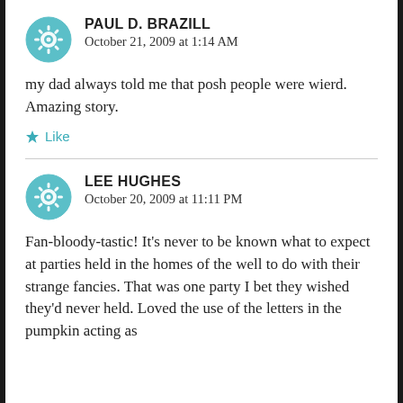PAUL D. BRAZILL
October 21, 2009 at 1:14 AM
my dad always told me that posh people were wierd. Amazing story.
Like
LEE HUGHES
October 20, 2009 at 11:11 PM
Fan-bloody-tastic! It's never to be known what to expect at parties held in the homes of the well to do with their strange fancies. That was one party I bet they wished they'd never held. Loved the use of the letters in the pumpkin acting as